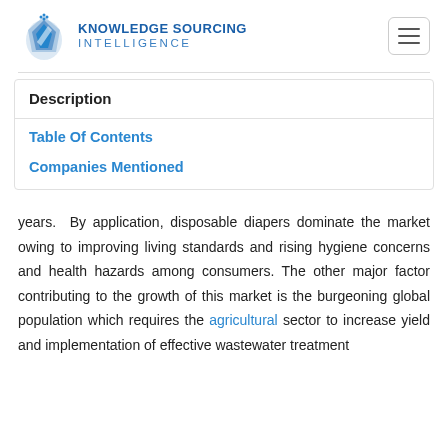[Figure (logo): Knowledge Sourcing Intelligence logo with blue diamond/crystal icon and company name]
Description
Table Of Contents
Companies Mentioned
years.  By application, disposable diapers dominate the market owing to improving living standards and rising hygiene concerns and health hazards among consumers. The other major factor contributing to the growth of this market is the burgeoning global population which requires the agricultural sector to increase yield and implementation of effective wastewater treatment